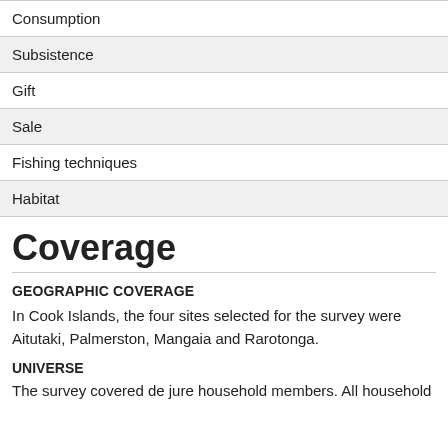| Consumption |
| Subsistence |
| Gift |
| Sale |
| Fishing techniques |
| Habitat |
Coverage
GEOGRAPHIC COVERAGE
In Cook Islands, the four sites selected for the survey were Aitutaki, Palmerston, Mangaia and Rarotonga.
UNIVERSE
The survey covered de jure household members. All household